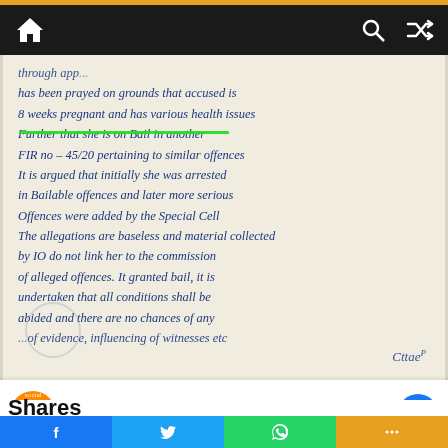[Figure (photo): Photograph of a handwritten legal court document (bail order/application) in blue ink on white paper. Text reads portions of a legal proceeding mentioning bail, pregnancy, FIR no. 45/20, bailable offences, special cell, allegations, commission of alleged offences. A green underline highlights '8 weeks pregnant'. A circular stamp and a signature are visible.]
Chat with Hoax Slayer ✓
Hi! How can we help you?
Shares